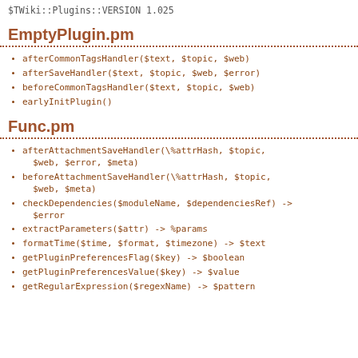$TWiki::Plugins::VERSION 1.025
EmptyPlugin.pm
afterCommonTagsHandler($text, $topic, $web)
afterSaveHandler($text, $topic, $web, $error)
beforeCommonTagsHandler($text, $topic, $web)
earlyInitPlugin()
Func.pm
afterAttachmentSaveHandler(\%attrHash, $topic, $web, $error, $meta)
beforeAttachmentSaveHandler(\%attrHash, $topic, $web, $meta)
checkDependencies($moduleName, $dependenciesRef) -> $error
extractParameters($attr) -> %params
formatTime($time, $format, $timezone) -> $text
getPluginPreferencesFlag($key) -> $boolean
getPluginPreferencesValue($key) -> $value
getRegularExpression($regexName) -> $pattern